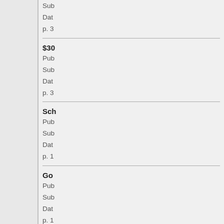Sub
Dat
p. 3
$30
Pub
Sub
Dat
p. 3
Sch
Pub
Sub
Dat
p. 1
Go
Pub
Sub
Dat
p. 1
Fro